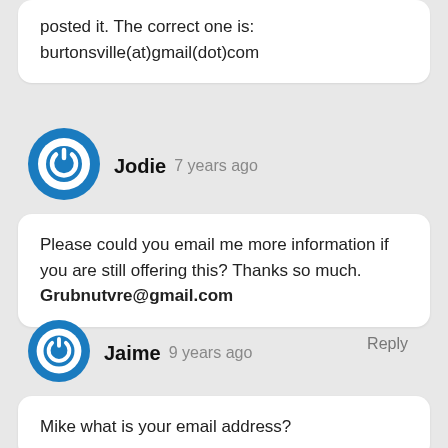posted it. The correct one is: burtonsville(at)gmail(dot)com
Jodie  7 years ago
Please could you email me more information if you are still offering this? Thanks so much. Grubnutvre@gmail.com
Reply
Jaime  9 years ago
Mike what is your email address?